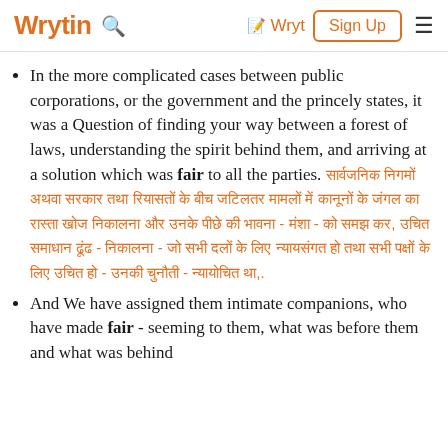Wrytin  🔍  ✏ Wryt  Sign Up  ☰
In the more complicated cases between public corporations, or the government and the princely states, it was a Question of finding your way between a forest of laws, understanding the spirit behind them, and arriving at a solution which was fair to all the parties. [Hindi text follows]
And We have assigned them intimate companions, who have made fair - seeming to them, what was before them and what was behind